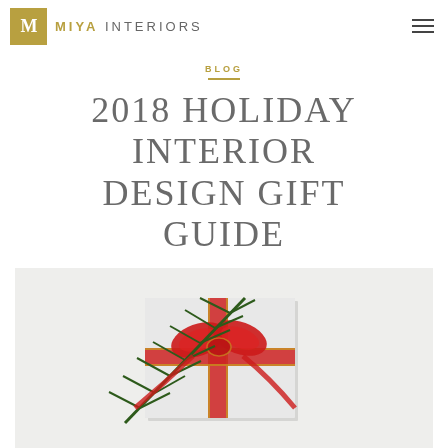MIYA INTERIORS
BLOG
2018 HOLIDAY INTERIOR DESIGN GIFT GUIDE
[Figure (photo): A wrapped white gift box with a red ribbon bow and green pine branch on top, photographed from above on a light grey background.]